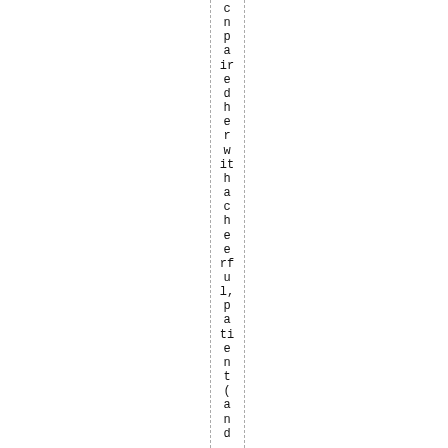c
n
p
a
ir
e
d
h
e
r
w
it
h
a
c
h
e
e
rf
u
l,
p
a
ti
e
n
t
(
a
n
d